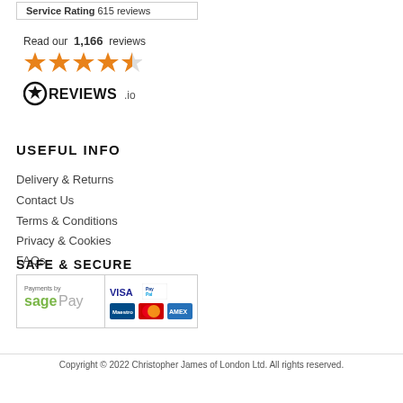Service Rating  615 reviews
Read our 1,166 reviews
[Figure (other): Four and a half orange stars rating display]
[Figure (logo): REVIEWS.io logo with star icon]
USEFUL INFO
Delivery & Returns
Contact Us
Terms & Conditions
Privacy & Cookies
FAQs
SAFE & SECURE
[Figure (logo): Payments by Sage Pay logo with Visa, PayPal, Maestro, MasterCard, American Express card icons]
Copyright © 2022 Christopher James of London Ltd. All rights reserved.